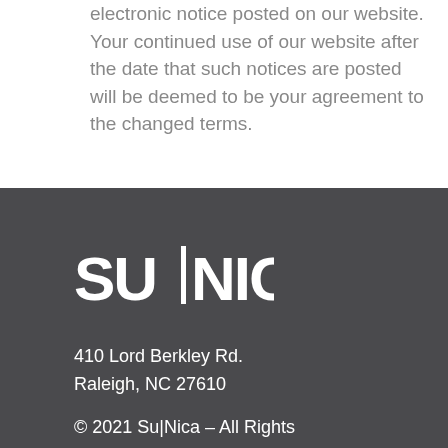electronic notice posted on our website. Your continued use of our website after the date that such notices are posted will be deemed to be your agreement to the changed terms.
[Figure (logo): SU|NICA logo in white text on dark grey background]
410 Lord Berkley Rd.
Raleigh, NC 27610
© 2021 Su|Nica – All Rights